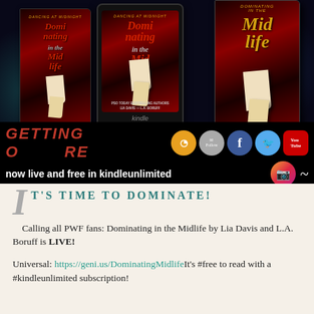[Figure (illustration): Promotional image showing three versions of the book 'Dominating in the Midlife' by Lia Davis and L.A. Boruff — paperback, Kindle e-reader, and hardcover — against a dark background, with social media icons (RSS, Follow/email, Facebook, Twitter, YouTube, Instagram, Amazon) and text 'GETTING OLDER' and 'now live and free in kindleunimited']
IT'S TIME TO DOMINATE!
Calling all PWF fans: Dominating in the Midlife by Lia Davis and L.A. Boruff is LIVE!
Universal: https://geni.us/DominatingMidlifeIt's #free to read with a #kindleunlimited subscription!